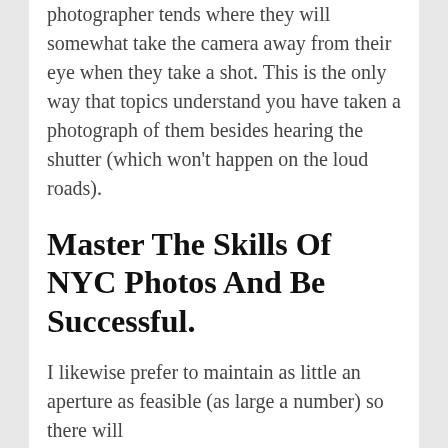photographer tends where they will somewhat take the camera away from their eye when they take a shot. This is the only way that topics understand you have taken a photograph of them besides hearing the shutter (which won't happen on the loud roads).
Master The Skills Of NYC Photos And Be Successful.
I likewise prefer to maintain as little an aperture as feasible (as large a number) so there will